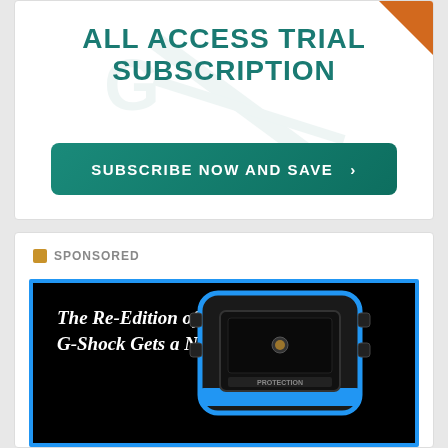ALL ACCESS TRIAL SUBSCRIPTION
SUBSCRIBE NOW AND SAVE >
SPONSORED
[Figure (photo): Advertisement image showing a G-Shock watch on a black background with blue border. Text reads: The Re-Edition of the First G-Shock Gets a New Color Variant:]